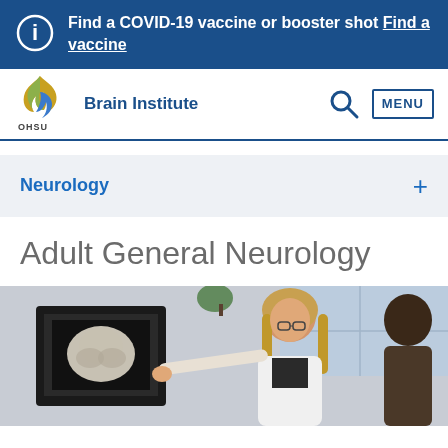Find a COVID-19 vaccine or booster shot Find a vaccine
[Figure (logo): OHSU Brain Institute logo with navigation bar including search icon and MENU button]
Neurology
Adult General Neurology
[Figure (photo): A female doctor in a white coat pointing at a brain MRI scan on a monitor, consulting with a patient]